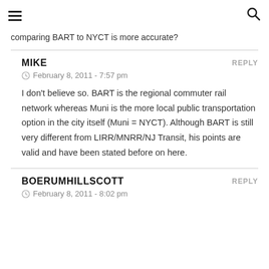≡ [menu icon] [search icon]
comparing BART to NYCT is more accurate?
MIKE — REPLY
February 8, 2011 - 7:57 pm
I don't believe so. BART is the regional commuter rail network whereas Muni is the more local public transportation option in the city itself (Muni = NYCT). Although BART is still very different from LIRR/MNRR/NJ Transit, his points are valid and have been stated before on here.
BOERUMHILLSCOTT — REPLY
February 8, 2011 - 8:02 pm